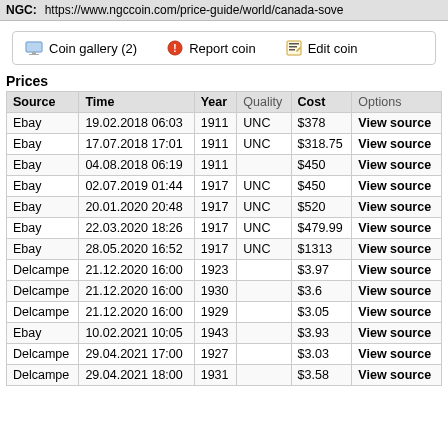NGC: https://www.ngccoin.com/price-guide/world/canada-sove
🖥 Coin gallery (2)   🔴 Report coin   📝 Edit coin
Prices
| Source | Time | Year | Quality | Cost | Options |
| --- | --- | --- | --- | --- | --- |
| Ebay | 19.02.2018 06:03 | 1911 | UNC | $378 | View source |
| Ebay | 17.07.2018 17:01 | 1911 | UNC | $318.75 | View source |
| Ebay | 04.08.2018 06:19 | 1911 |  | $450 | View source |
| Ebay | 02.07.2019 01:44 | 1917 | UNC | $450 | View source |
| Ebay | 20.01.2020 20:48 | 1917 | UNC | $520 | View source |
| Ebay | 22.03.2020 18:26 | 1917 | UNC | $479.99 | View source |
| Ebay | 28.05.2020 16:52 | 1917 | UNC | $1313 | View source |
| Delcampe | 21.12.2020 16:00 | 1923 |  | $3.97 | View source |
| Delcampe | 21.12.2020 16:00 | 1930 |  | $3.6 | View source |
| Delcampe | 21.12.2020 16:00 | 1929 |  | $3.05 | View source |
| Ebay | 10.02.2021 10:05 | 1943 |  | $3.93 | View source |
| Delcampe | 29.04.2021 17:00 | 1927 |  | $3.03 | View source |
| Delcampe | 29.04.2021 18:00 | 1931 |  | $3.58 | View source |